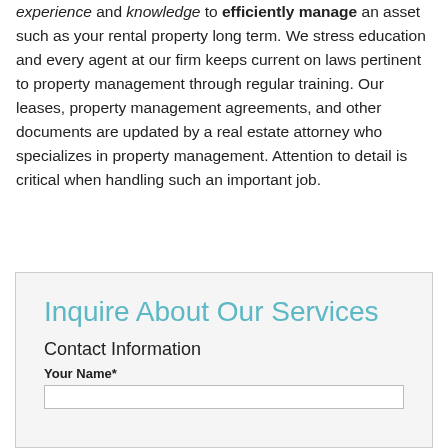experience and knowledge to efficiently manage an asset such as your rental property long term. We stress education and every agent at our firm keeps current on laws pertinent to property management through regular training. Our leases, property management agreements, and other documents are updated by a real estate attorney who specializes in property management. Attention to detail is critical when handling such an important job.
Inquire About Our Services
Contact Information
Your Name*